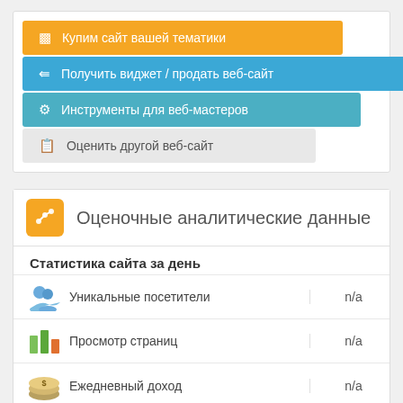Купим сайт вашей тематики
Получить виджет / продать веб-сайт
Инструменты для веб-мастеров
Оценить другой веб-сайт
Оценочные аналитические данные
Статистика сайта за день
|  | Метрика | Значение |
| --- | --- | --- |
|  | Уникальные посетители | n/a |
|  | Просмотр страниц | n/a |
|  | Ежедневный доход | n/a |